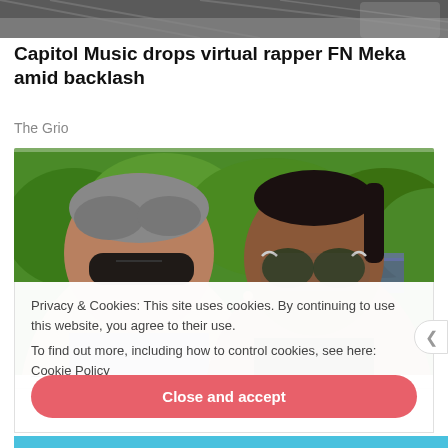[Figure (photo): Partial view of a dark metallic roof structure, cropped at top of page]
Capitol Music drops virtual rapper FN Meka amid backlash
The Grio
[Figure (photo): Photo of two people outdoors with green trees/landscape in background. Man on left wearing sunglasses, woman on right wearing heart-shaped sunglasses.]
Privacy & Cookies: This site uses cookies. By continuing to use this website, you agree to their use.
To find out more, including how to control cookies, see here: Cookie Policy
Close and accept